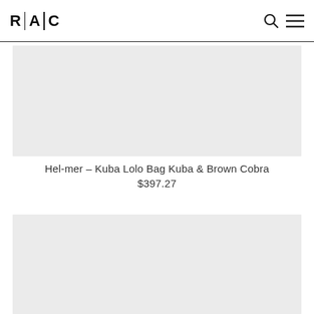R|A|C
[Figure (photo): Light gray placeholder image for product (Hel-mer Kuba Lolo Bag)]
Hel-mer – Kuba Lolo Bag Kuba & Brown Cobra
$397.27
[Figure (photo): Light gray placeholder image for second product]